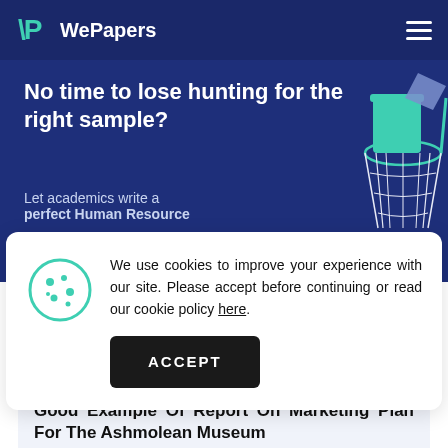WePapers
No time to lose hunting for the right sample?
Let academics write a perfect Human Resource
We use cookies to improve your experience with our site. Please accept before continuing or read our cookie policy here.
ACCEPT
Good Example Of Report On Marketing Plan For The Ashmolean Museum
10 Pages